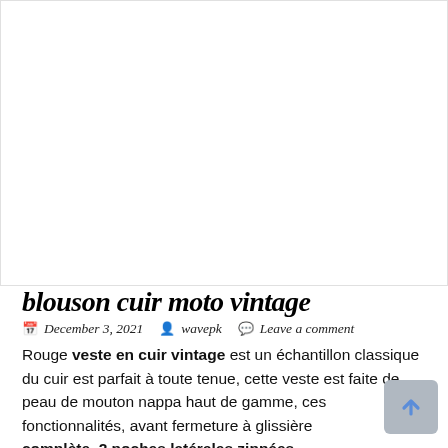[Figure (other): Large white/blank image area at top of page]
blouson cuir moto vintage
December 3, 2021   wavepk   Leave a comment
Rouge veste en cuir vintage est un échantillon classique du cuir est parfait à toute tenue, cette veste est faite de peau de mouton nappa haut de gamme, ces fonctionnalités, avant fermeture à glissière complète, 2 poches latérales zippées